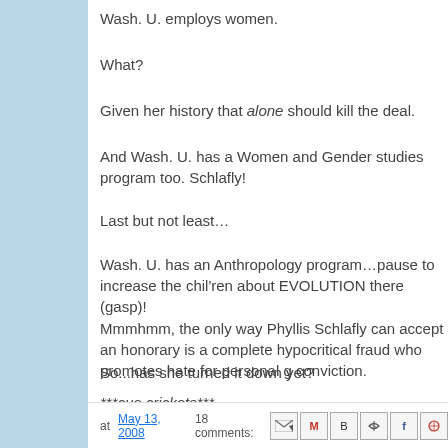Wash. U. employs women.
What?
Given her history that alone should kill the deal.
And Wash. U. has a Women and Gender studies program too. Schlafly!
Last but not least…
Wash. U. has an Anthropology program…pause to increase the chil'ren about EVOLUTION there (gasp)!
Mmmhmm, the only way Phyllis Schlafly can accept an honorary is a complete hypocritical fraud who promotes hate for personal gain conviction.
So...has she turned it down yet?
***cue crickets***
at May 13, 2008   18 comments: